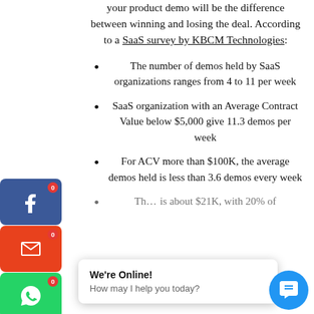your product demo will be the difference between winning and losing the deal. According to a SaaS survey by KBCM Technologies:
The number of demos held by SaaS organizations ranges from 4 to 11 per week
SaaS organization with an Average Contract Value below $5,000 give 11.3 demos per week
For ACV more than $100K, the average demos held is less than 3.6 demos every week
Th... is about $21K, with 20% of